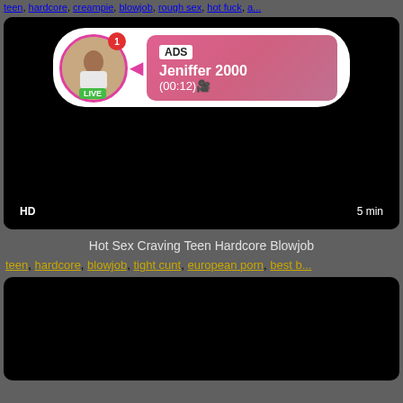teen, hardcore, creampie, blowjob, rough sex, hot fuck, a...
[Figure (screenshot): Video thumbnail with black background, ad overlay showing avatar with LIVE badge, ADS label, name Jeniffer 2000, time (00:12), HD badge bottom left, 5 min badge bottom right]
Hot Sex Craving Teen Hardcore Blowjob
teen, hardcore, blowjob, tight cunt, european porn, best b...
[Figure (screenshot): Dark/black video thumbnail, second video]